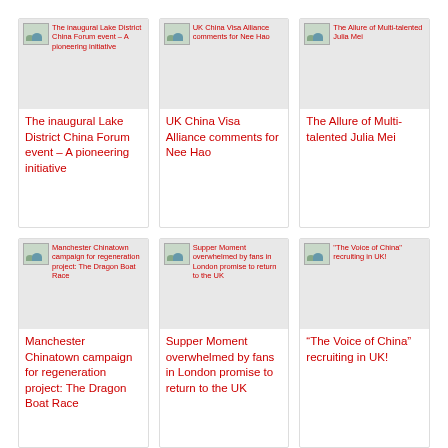[Figure (screenshot): Thumbnail image placeholder for Lake District China Forum article]
The inaugural Lake District China Forum event – A pioneering initiative
[Figure (screenshot): Thumbnail image placeholder for UK China Visa Alliance article]
UK China Visa Alliance comments for Nee Hao
[Figure (screenshot): Thumbnail image placeholder for The Allure of Multi-talented Julia Mei article]
The Allure of Multi-talented Julia Mei
[Figure (screenshot): Thumbnail image placeholder for Manchester Chinatown campaign article]
Manchester Chinatown campaign for regeneration project: The Dragon Boat Race
[Figure (screenshot): Thumbnail image placeholder for Supper Moment article]
Supper Moment overwhelmed by fans in London promise to return to the UK
[Figure (screenshot): Thumbnail image placeholder for The Voice of China article]
“The Voice of China” recruiting in UK!